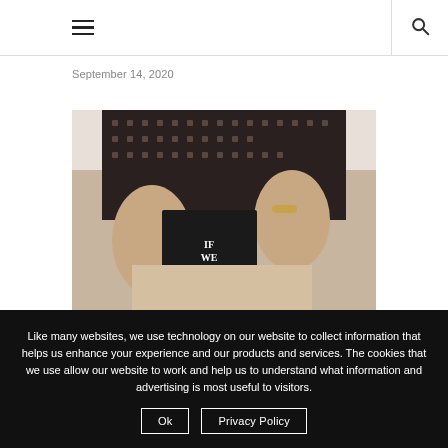≡  🔍
September 14, 2020
[Figure (photo): A person holding a dark book titled 'If We Were Villains', wearing a dark patterned top and light skirt, photographed against a white/beige background.]
Like many websites, we use technology on our website to collect information that helps us enhance your experience and our products and services. The cookies that we use allow our website to work and help us to understand what information and advertising is most useful to visitors.
Ok   Privacy Policy